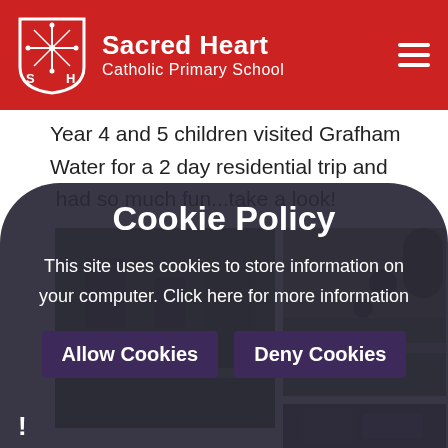[Figure (logo): Sacred Heart Catholic Primary School logo with shield shape, white on red background]
Sacred Heart
Catholic Primary School
Year 4 and 5 children visited Grafham Water for a 2 day residential trip and  had so much fun...take a look!
[Figure (photo): Photo of green outdoor area at Grafham Water]
[Figure (photo): Photo of child riding a bike on a path at Grafham Water activity centre]
[Figure (screenshot): Cookie policy overlay popup on school website]
Cookie Policy
This site uses cookies to store information on your computer. Click here for more information
Allow Cookies
Deny Cookies